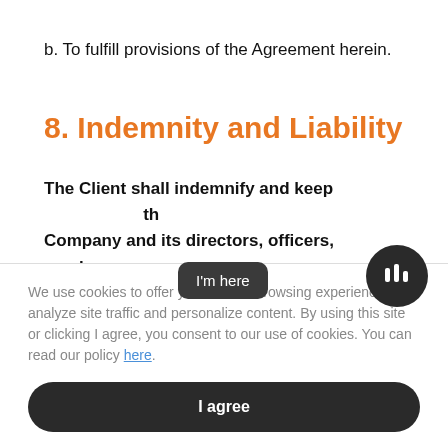b. To fulfill provisions of the Agreement herein.
8. Indemnity and Liability
The Client shall indemnify and keep the Company and its directors, officers, employees or representatives against all direct or indirect liabilities
We use cookies to offer you a better browsing experience, analyze site traffic and personalize content. By using this site or clicking I agree, you consent to our use of cookies. You can read our policy here.
I agree